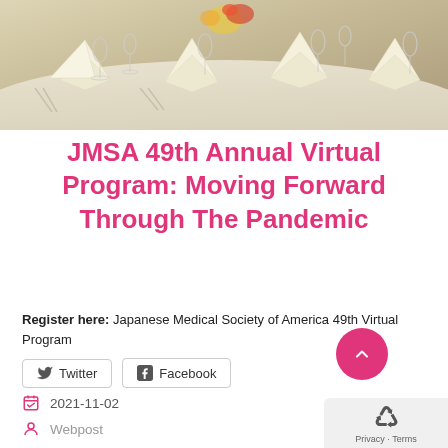[Figure (photo): Formal dining table set with white folded napkins, wine glasses, silverware, and floral centerpiece]
JMSA 49th Annual Virtual Program: Moving Forward Through The Pandemic
Register here: Japanese Medical Society of America 49th Virtual Program
Twitter  Facebook
2021-11-02
Webpost
Event, Member News, News, Student News, ...